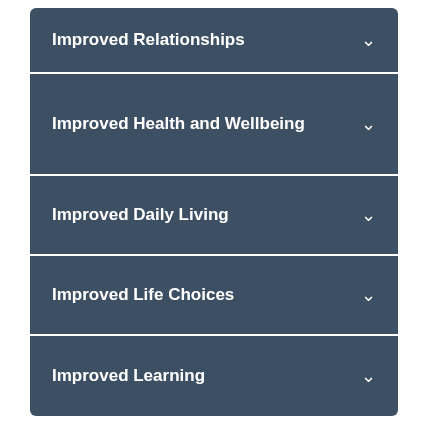Improved Relationships
Improved Health and Wellbeing
Improved Daily Living
Improved Life Choices
Improved Learning